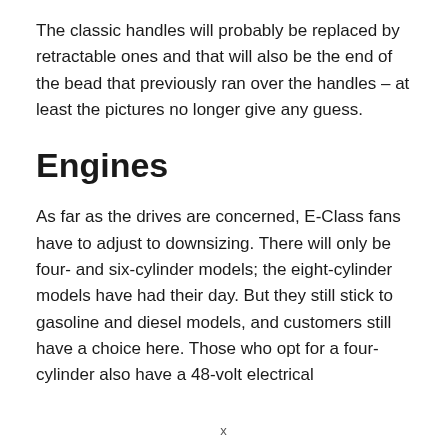The classic handles will probably be replaced by retractable ones and that will also be the end of the bead that previously ran over the handles – at least the pictures no longer give any guess.
Engines
As far as the drives are concerned, E-Class fans have to adjust to downsizing. There will only be four- and six-cylinder models; the eight-cylinder models have had their day. But they still stick to gasoline and diesel models, and customers still have a choice here. Those who opt for a four-cylinder also have a 48-volt electrical
x